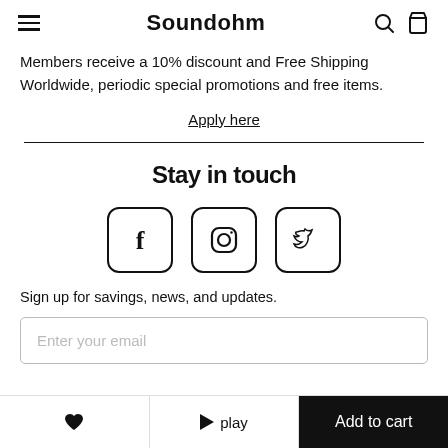Soundohm
Members receive a 10% discount and Free Shipping Worldwide, periodic special promotions and free items.
Apply here
Stay in touch
[Figure (illustration): Three social media icons in rounded square boxes: Facebook (f), Instagram (circle with inner circle), Twitter/X (bird icon)]
Sign up for savings, news, and updates.
Enter your email
❤  ▶ play  Add to cart